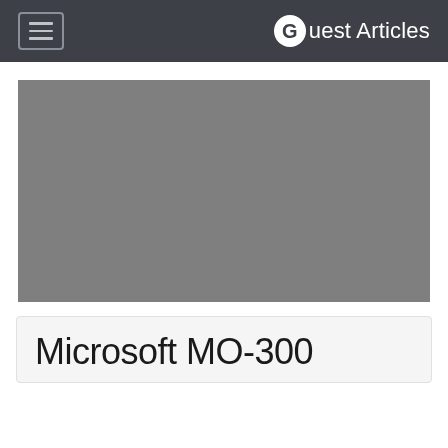Guest Articles
[Figure (photo): Gray placeholder image for article hero banner]
Microsoft MO-300